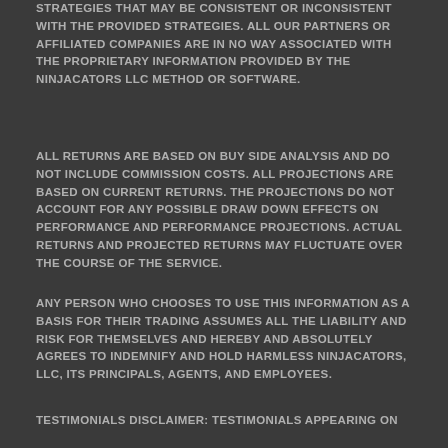STRATEGIES THAT MAY BE CONSISTENT OR INCONSISTENT WITH THE PROVIDED STRATEGIES. ALL OUR PARTNERS OR AFFILIATED COMPANIES ARE IN NO WAY ASSOCIATED WITH THE PROPRIETARY INFORMATION PROVIDED BY THE NINJACATORS LLC METHOD OR SOFTWARE.
ALL RETURNS ARE BASED ON BUY SIDE ANALYSIS AND DO NOT INCLUDE COMMISSION COSTS. ALL PROJECTIONS ARE BASED ON CURRENT RETURNS. THE PROJECTIONS DO NOT ACCOUNT FOR ANY POSSIBLE DRAW DOWN EFFECTS ON PERFORMANCE AND PERFORMANCE PROJECTIONS. ACTUAL RETURNS AND PROJECTED RETURNS MAY FLUCTUATE OVER THE COURSE OF THE SERVICE.
ANY PERSON WHO CHOOSES TO USE THIS INFORMATION AS A BASIS FOR THEIR TRADING ASSUMES ALL THE LIABILITY AND RISK FOR THEMSELVES AND HEREBY AND ABSOLUTELY AGREES TO INDEMNIFY AND HOLD HARMLESS NINJACATORS, LLC, ITS PRINCIPALS, AGENTS, AND EMPLOYEES.
TESTIMONIALS DISCLAIMER: TESTIMONIALS APPEARING ON